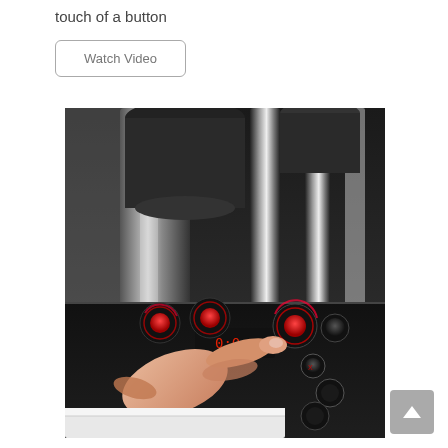touch of a button
[Figure (illustration): A button region with a 'Watch Video' label, styled as a rounded rectangle outline button]
[Figure (photo): Close-up photo of a person's hand pressing a button on a coffee machine control panel. The panel is black with red illuminated controls and knobs. Metallic cylindrical components of the espresso machine are visible in the background.]